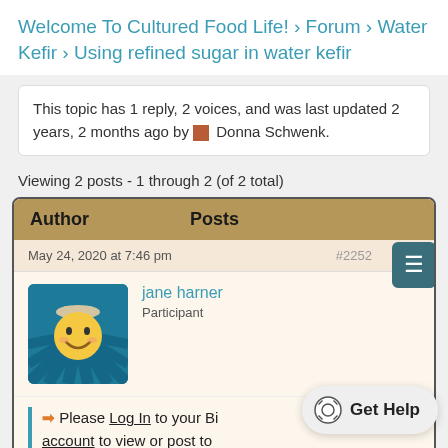Welcome To Cultured Food Life! › Forum › Water Kefir › Using refined sugar in water kefir
This topic has 1 reply, 2 voices, and was last updated 2 years, 2 months ago by Donna Schwenk.
Viewing 2 posts - 1 through 2 (of 2 total)
| Author | Posts |
| --- | --- |
| May 24, 2020 at 7:46 pm | #2252 |
| jane harner
Participant |  |
➔ Please Log In to your Bi account to view or post to forum.